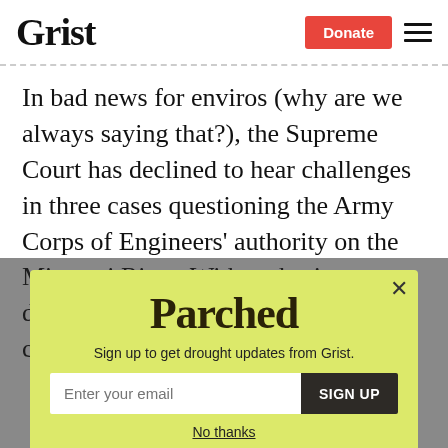Grist | Donate
In bad news for enviros (why are we always saying that?), the Supreme Court has declined to hear challenges in three cases questioning the Army Corps of Engineers' authority on the Missouri River. With authority now decidedly in hand, the Corps can continue to prioritize the downstream
[Figure (screenshot): Parchea newsletter signup modal with yellow-green background. Contains 'Parched' logo text, subtitle 'Sign up to get drought updates from Grist.', email input field with placeholder 'Enter your email', 'SIGN UP' button, and 'No thanks' link. Close button (X) in top right corner.]